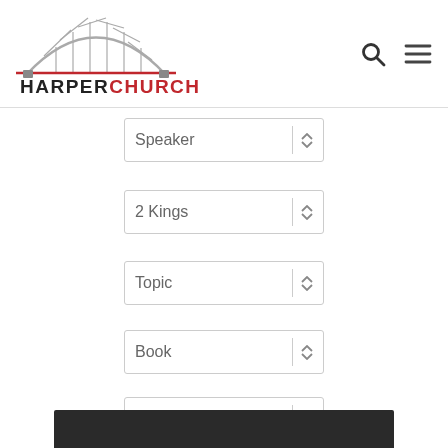[Figure (logo): Harper Church logo with arch bridge graphic above the text HARPERCHURCH where HARPER is in black and CHURCH is in red]
Speaker
2 Kings
Topic
Book
Service Type
[Figure (photo): Partial photo visible at bottom of page, appears to be a person]